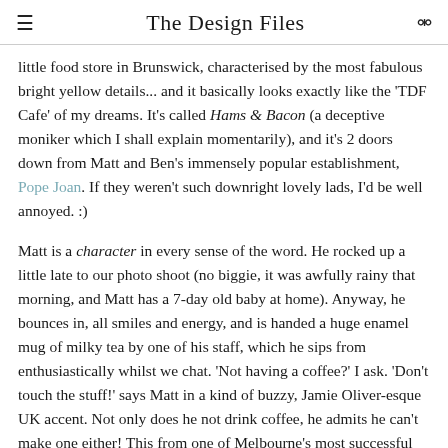The Design Files
little food store in Brunswick, characterised by the most fabulous bright yellow details... and it basically looks exactly like the 'TDF Cafe' of my dreams. It's called Hams & Bacon (a deceptive moniker which I shall explain momentarily), and it's 2 doors down from Matt and Ben's immensely popular establishment, Pope Joan. If they weren't such downright lovely lads, I'd be well annoyed. :)
Matt is a character in every sense of the word. He rocked up a little late to our photo shoot (no biggie, it was awfully rainy that morning, and Matt has a 7-day old baby at home). Anyway, he bounces in, all smiles and energy, and is handed a huge enamel mug of milky tea by one of his staff, which he sips from enthusiastically whilst we chat. 'Not having a coffee?' I ask. 'Don't touch the stuff!' says Matt in a kind of buzzy, Jamie Oliver-esque UK accent. Not only does he not drink coffee, he admits he can't make one either! This from one of Melbourne's most successful cafe owners! Love it. A proper pom, this one.